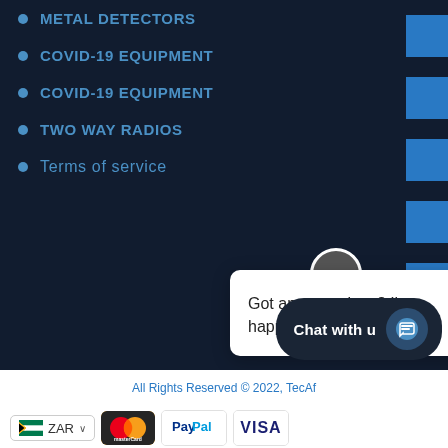METAL DETECTORS
COVID-19 EQUIPMENT
COVID-19 EQUIPMENT
TWO WAY RADIOS
Terms of service
Got any questions? I'm happy to help.
All Rights Reserved © 2022, TecAf...